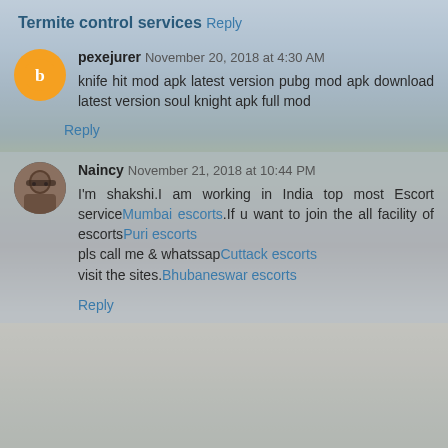Termite control services
Reply
pexejurer November 20, 2018 at 4:30 AM
knife hit mod apk latest version pubg mod apk download latest version soul knight apk full mod
Reply
Naincy November 21, 2018 at 10:44 PM
I'm shakshi.I am working in India top most Escort serviceMumbai escorts.If u want to join the all facility of escortsPuri escorts
pls call me & whatssapCuttack escorts
visit the sites.Bhubaneswar escorts
Reply